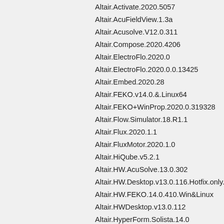Altair.Activate.2020.5057
Altair.AcuFieldView.1.3a
Altair.Acusolve.V12.0.311
Altair.Compose.2020.4206
Altair.ElectroFlo.2020.0
Altair.ElectroFlo.2020.0.0.13425
Altair.Embed.2020.28
Altair.FEKO.v14.0.&.Linux64
Altair.FEKO+WinProp.2020.0.319328
Altair.Flow.Simulator.18.R1.1
Altair.Flux.2020.1.1
Altair.FluxMotor.2020.1.0
Altair.HiQube.v5.2.1
Altair.HW.AcuSolve.13.0.302
Altair.HW.Desktop.v13.0.116.Hotfix.only.&.Linux64
Altair.HW.FEKO.14.0.410.Win&Linux
Altair.HWDesktop.v13.0.112
Altair.HyperForm.Solista.14.0
Altair.HyperForm.Solista.v12.0
ALTAIR.HYPERFORM.V5.1
ALTAIR.HYPERGRAPH.V5.0
ALTAIR.HYPERGRAPH.V5.1
ALTAIR.HYPERMESH.V5.1
ALTAIR.HYPEROPT.V5.2
ALTAIR.HYPEROPT.V5.3